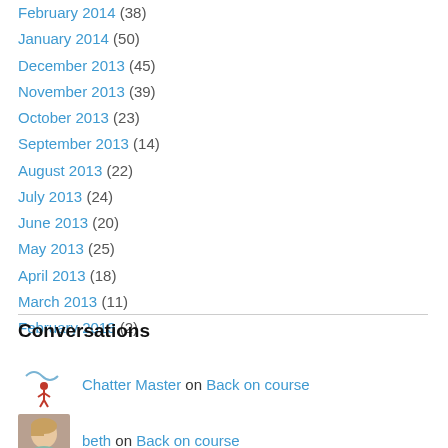February 2014 (38)
January 2014 (50)
December 2013 (45)
November 2013 (39)
October 2013 (23)
September 2013 (14)
August 2013 (22)
July 2013 (24)
June 2013 (20)
May 2013 (25)
April 2013 (18)
March 2013 (11)
February 2013 (2)
Conversations
Chatter Master on Back on course
beth on Back on course